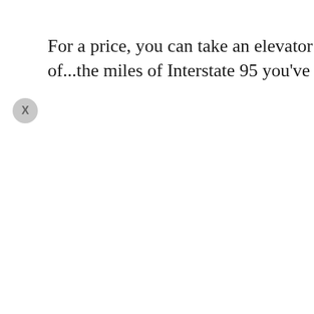For a price, you can take an elevator ride to the top of the sombre of...the miles of Interstate 95 you've just driven, andthe hundreds